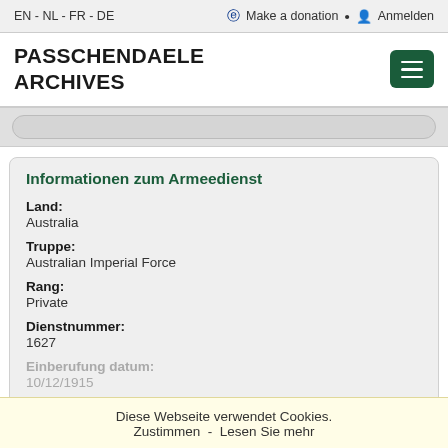EN - NL - FR - DE | Make a donation • Anmelden
PASSCHENDAELE ARCHIVES
Informationen zum Armeedienst
Land:
Australia
Truppe:
Australian Imperial Force
Rang:
Private
Dienstnummer:
1627
Einberufung datum:
10/12/1915
Einberufung ort:
Diese Webseite verwendet Cookies.
Zustimmen - Lesen Sie mehr